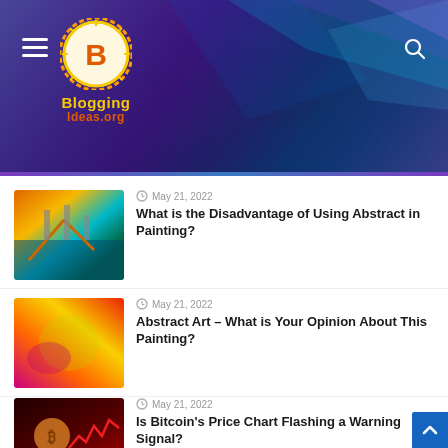[Figure (screenshot): Blogging Ideas website header with logo, hamburger menu, and geometric purple/blue background]
[Figure (photo): Abstract colorful painting thumbnail - cranes over water with orange/teal colors]
May 21, 2022
What is the Disadvantage of Using Abstract in Painting?
[Figure (photo): Abstract painting thumbnail - yellow/magenta swirling colors]
May 21, 2022
Abstract Art – What is Your Opinion About This Painting?
[Figure (photo): Bitcoin coin with red downward price chart on dark background]
May 21, 2022
Is Bitcoin's Price Chart Flashing a Warning Signal?
[Figure (photo): Smiling man in suit at laptop - career concept photo]
May 21, 2022
Which Career Path is the Best in Coming Future?